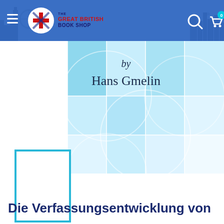[Figure (screenshot): The Great British Book Shop website header with logo, hamburger menu, search icon, and cart icon with badge showing 0]
[Figure (illustration): Blue grid book cover graphic with 'by Hans Gmelin' text in cursive/blackletter style on a cyan gradient background with decorative circular arc overlay]
[Figure (illustration): Small blank white book cover thumbnail with teal border rectangle]
Die Verfassungsentwicklung von